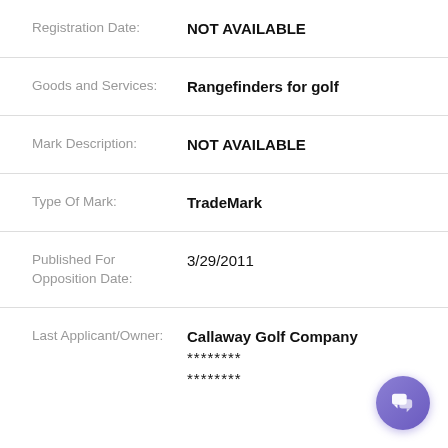Registration Date: NOT AVAILABLE
Goods and Services: Rangefinders for golf
Mark Description: NOT AVAILABLE
Type Of Mark: TradeMark
Published For Opposition Date: 3/29/2011
Last Applicant/Owner: Callaway Golf Company ******** ********